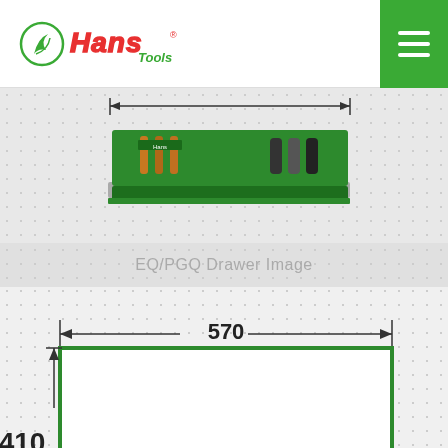[Figure (logo): Hans Tools logo - stylized red lettering with green leaf icon]
[Figure (photo): Tool drawer photograph showing screwdrivers and tools in a green tool tray, with a horizontal dimension arrow above it]
EQ/PGQ Drawer Image
[Figure (engineering-diagram): Engineering dimension diagram showing a rectangular outline (green border) with width dimension of 570 and height dimension of 410, with arrows and dimension lines]